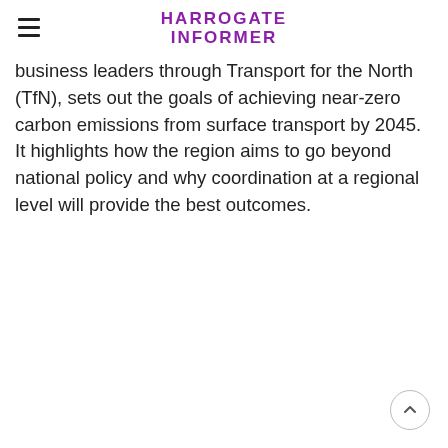HARROGATE INFORMER
business leaders through Transport for the North (TfN), sets out the goals of achieving near-zero carbon emissions from surface transport by 2045. It highlights how the region aims to go beyond national policy and why coordination at a regional level will provide the best outcomes.